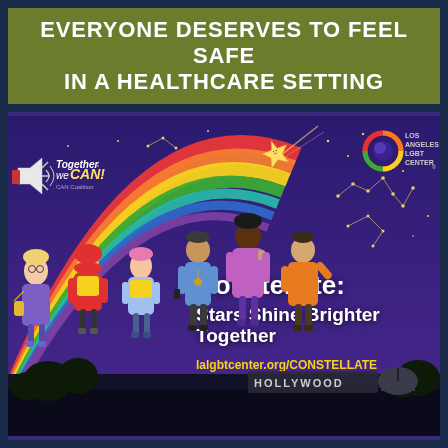EVERYONE DESERVES TO FEEL SAFE IN A HEALTHCARE SETTING
[Figure (illustration): Promotional poster for the Los Angeles LGBT Center's 'Constellate: Stars Shine Brighter Together' event. Features a purple night sky with stars and constellations, a rainbow arc shooting upward with a gold star, diverse group of young people at the bottom, Hollywood sign, and an observatory. Top left has 'Together We CAN! CAN Coalition' logo with megaphone. Top right has LA LGBT Center logo. Main text reads 'Constellate: Stars Shine Brighter Together' and 'lalgbtcenter.org/CONSTELLATE'.]